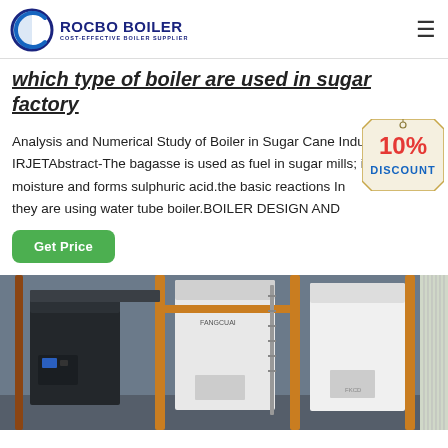ROCBO BOILER — COST-EFFECTIVE BOILER SUPPLIER
which type of boiler are used in sugar factory
Analysis and Numerical Study of Boiler in Sugar Cane Industry - IRJETAbstract-The bagasse is used as fuel in sugar mills; its moisture and forms sulphuric acid.the basic reactions In they are using water tube boiler.BOILER DESIGN AND
[Figure (illustration): 10% DISCOUNT badge/tag graphic overlaid on top right of text]
[Figure (photo): Industrial boiler equipment in a factory setting showing large black and white boiler units with orange/yellow pipes and structural elements]